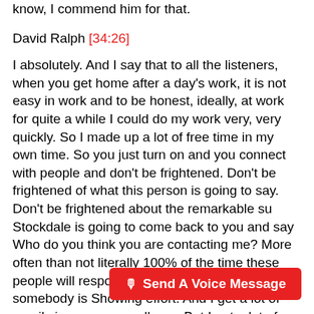know, I commend him for that.
David Ralph [34:26]
I absolutely. And I say that to all the listeners, when you get home after a day's work, it is not easy in work and to be honest, ideally, at work for quite a while I could do my work very, very quickly. So I made up a lot of free time in my own time. So you just turn on and you connect with people and don't be frightened. Don't be frightened of what this person is going to say. Don't be frightened about the remarkable su Stockdale is going to come back to you and say Who do you think you are contacting me? More often than not literally 100% of the time these people will respond because I like to see what somebody is Showing effort. And I get a lot of emails in my very small way. But I get a lot of emails and I always respond to all of them. It may ta... But I will always respond because I know how
[Figure (other): Red button with microphone icon labeled 'Send A Voice Message']